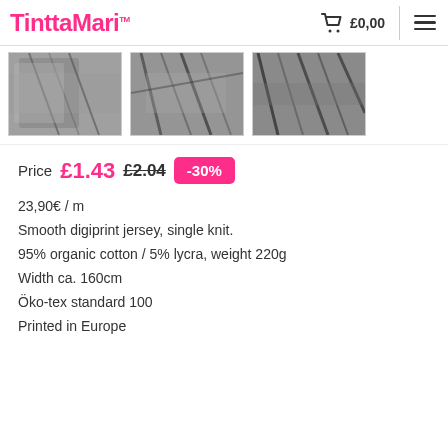TinttaMari™  £0,00
[Figure (photo): Three product thumbnail images showing black and white patterned fabric/jersey]
Price £1.43 £2.04 -30%
23,90€ / m
Smooth digiprint jersey, single knit.
95% organic cotton / 5% lycra, weight 220g
Width ca. 160cm
Öko-tex standard 100
Printed in Europe